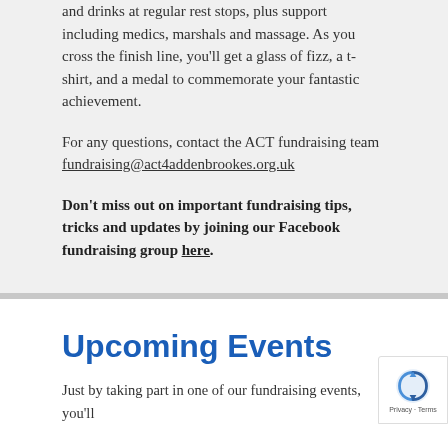and drinks at regular rest stops, plus support including medics, marshals and massage. As you cross the finish line, you'll get a glass of fizz, a t-shirt, and a medal to commemorate your fantastic achievement.
For any questions, contact the ACT fundraising team fundraising@act4addenbrookes.org.uk
Don't miss out on important fundraising tips, tricks and updates by joining our Facebook fundraising group here.
Upcoming Events
Just by taking part in one of our fundraising events, you'll